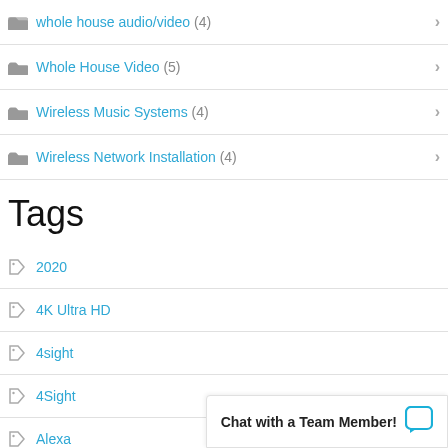whole house audio/video (4)
Whole House Video (5)
Wireless Music Systems (4)
Wireless Network Installation (4)
Tags
2020
4K Ultra HD
4sight
4Sight
Alexa
ALR Screen
Amazon Alexa
ambient light rejection s…
Ambient Light Rejection…
Chat with a Team Member!